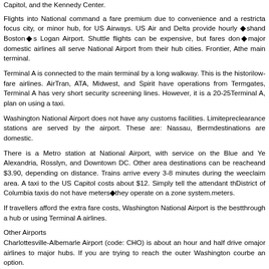Capitol, and the Kennedy Center.
Flights into National command a fare premium due to convenience and a restricted number of flights. National is a focus city, or minor hub, for US Airways. US Air and Delta provide hourly shuttle services to New York and Boston's Logan Airport. Shuttle flights can be expensive, but fares don't always reflect that. All major domestic airlines all serve National Airport from their hub cities. Frontier, AirTran, and others fly from the main terminal.
Terminal A is connected to the main terminal by a long walkway. This is the historic terminal and is used by low-fare airlines. AirTran, ATA, Midwest, and Spirit have operations from Terminal A. Despite having fewer gates, Terminal A has very short security screening lines. However, it is a 20-25 minute walk. If you fly Terminal A, plan on using a taxi.
Washington National Airport does not have any customs facilities. Limited international flights with preclearance stations are served by the airport. These are: Nassau, Bermuda. Most other destinations are domestic.
There is a Metro station at National Airport, with service on the Blue and Yellow lines, serving Alexandria, Rosslyn, and Downtown DC. Other area destinations can be reached by Metro. Fares are between and $3.90, depending on distance. Trains arrive every 3-8 minutes during the week, and the station is near the claim area. A taxi to the US Capitol costs about $12. Simply tell the attendant the destination, as District of Columbia taxis do not have meters◆they operate on a zone system. Maryland and Virginia taxis have meters.
If travellers afford the extra fare costs, Washington National Airport is the best option, though connecting through a hub or using Terminal A airlines.
Other Airports
Charlottesville-Albemarle Airport (code: CHO) is about an hour and half drive outside DC. It is served by major airlines to major hubs. If you are trying to reach the outer Washington counties, this airport could be an option.
Salisbury Ocean City Airport (SBY) is located across the Chesapeake Bay on th...